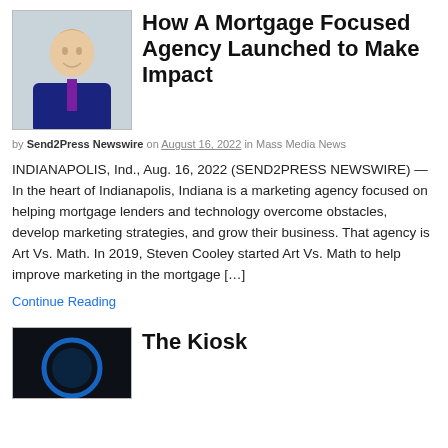[Figure (photo): Headshot of a man in a dark suit with a purple tie, smiling, professional photo]
How A Mortgage Focused Agency Launched to Make Impact
by Send2Press Newswire on August 16, 2022 in Mass Media News
INDIANAPOLIS, Ind., Aug. 16, 2022 (SEND2PRESS NEWSWIRE) — In the heart of Indianapolis, Indiana is a marketing agency focused on helping mortgage lenders and technology overcome obstacles, develop marketing strategies, and grow their business. That agency is Art Vs. Math. In 2019, Steven Cooley started Art Vs. Math to help improve marketing in the mortgage […]
Continue Reading
[Figure (photo): Circular logo or image on dark background, blue ring visible, partially cropped]
The Kiosk